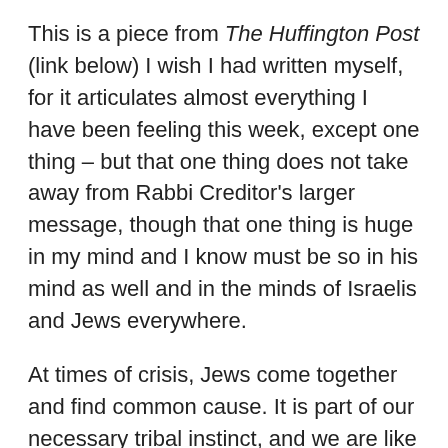This is a piece from The Huffington Post (link below) I wish I had written myself, for it articulates almost everything I have been feeling this week, except one thing – but that one thing does not take away from Rabbi Creditor's larger message, though that one thing is huge in my mind and I know must be so in his mind as well and in the minds of Israelis and Jews everywhere.
At times of crisis, Jews come together and find common cause. It is part of our necessary tribal instinct, and we are like every other people and nation in the world in our concern for our own people first and foremost.
The Pesach seder reminds us every year that the evil child is the one that separates him/herself from the community and does not see his/her destiny as part of the destiny of